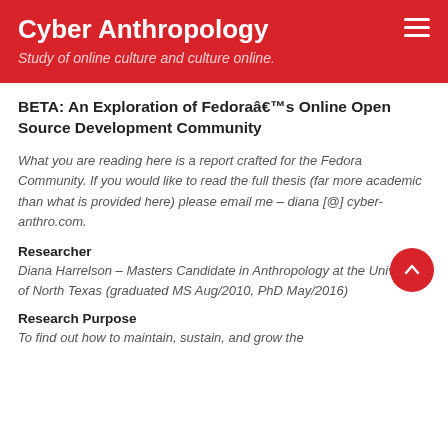Cyber Anthropology
Study of online culture and culture online.
BETA: An Exploration of Fedoraâs Online Open Source Development Community
What you are reading here is a report crafted for the Fedora Community. If you would like to read the full thesis (far more academic than what is provided here) please email me – diana [@] cyber-anthro.com.
Researcher
Diana Harrelson – Masters Candidate in Anthropology at the University of North Texas (graduated MS Aug/2010, PhD May/2016)
Research Purpose
To find out how to maintain, sustain, and grow the